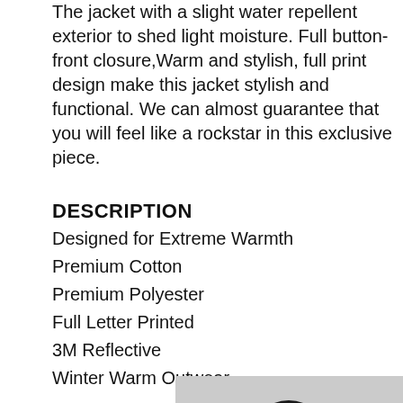The jacket with a slight water repellent exterior to shed light moisture. Full button-front closure,Warm and stylish, full print design make this jacket stylish and functional. We can almost guarantee that you will feel like a rockstar in this exclusive piece.
DESCRIPTION
Designed for Extreme Warmth
Premium Cotton
Premium Polyester
Full Letter Printed
3M Reflective
Winter Warm Outwear
[Figure (photo): A person wearing a black cap with 'FRIDAY' text and a printed jacket, photographed from above against a light gray background.]